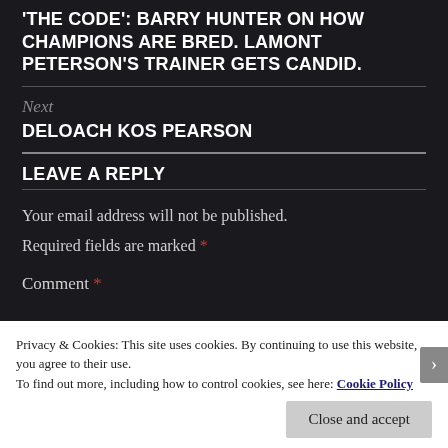THE CODE': BARRY HUNTER ON HOW CHAMPIONS ARE BRED. LAMONT PETERSON'S TRAINER GETS CANDID.
Next
DELOACH KOS PEARSON
LEAVE A REPLY
Your email address will not be published.
Required fields are marked *
Comment *
Privacy & Cookies: This site uses cookies. By continuing to use this website, you agree to their use.
To find out more, including how to control cookies, see here: Cookie Policy
Close and accept